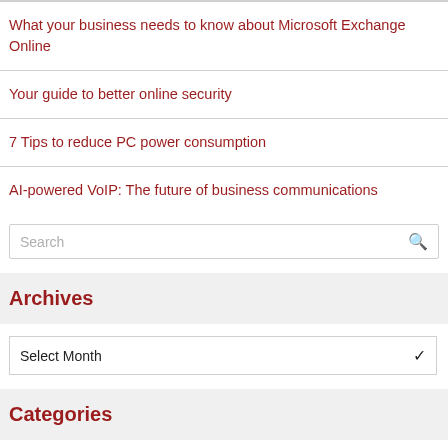What your business needs to know about Microsoft Exchange Online
Your guide to better online security
7 Tips to reduce PC power consumption
AI-powered VoIP: The future of business communications
Search
Archives
Select Month
Categories